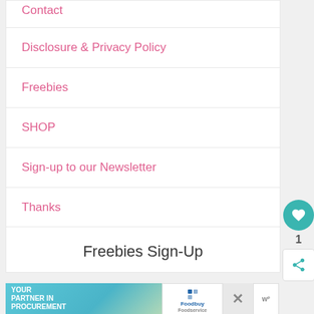Contact
Disclosure & Privacy Policy
Freebies
SHOP
Sign-up to our Newsletter
Thanks
Freebies Sign-Up
[Figure (infographic): Advertisement banner: YOUR PARTNER IN PROCUREMENT with Foodbuy Foodservice logo and a close/dismiss button]
[Figure (infographic): Heart/favorite button (teal circle with white heart icon), count label '1', and share button (teal share icon on white)]